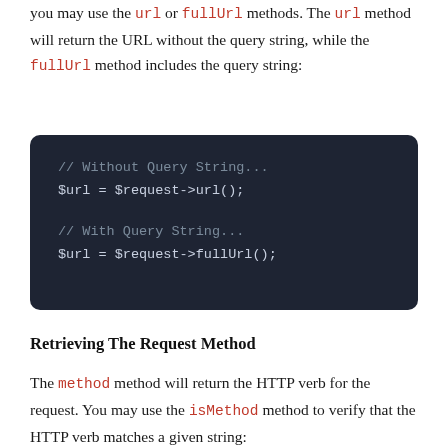you may use the url or fullUrl methods. The url method will return the URL without the query string, while the fullUrl method includes the query string:
[Figure (screenshot): Dark code block showing two PHP code snippets: one without query string ($url = $request->url();) and one with query string ($url = $request->fullUrl();)]
Retrieving The Request Method
The method method will return the HTTP verb for the request. You may use the isMethod method to verify that the HTTP verb matches a given string: